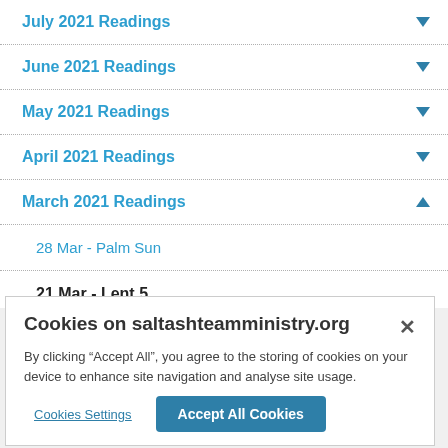July 2021 Readings
June 2021 Readings
May 2021 Readings
April 2021 Readings
March 2021 Readings
28 Mar - Palm Sun
21 Mar - Lent 5
Cookies on saltashteamministry.org
By clicking “Accept All”, you agree to the storing of cookies on your device to enhance site navigation and analyse site usage.
Cookies Settings
Accept All Cookies